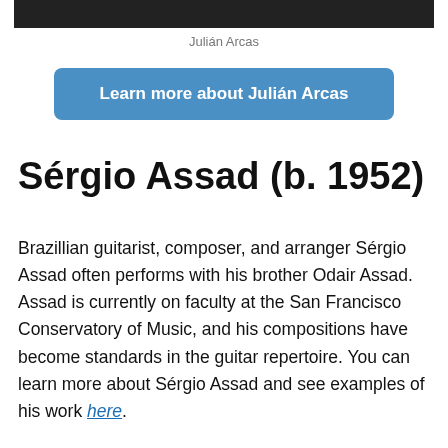[Figure (photo): Cropped black and white photograph at top of page (partial view)]
Julián Arcas
Learn more about Julián Arcas
Sérgio Assad (b. 1952)
Brazillian guitarist, composer, and arranger Sérgio Assad often performs with his brother Odair Assad. Assad is currently on faculty at the San Francisco Conservatory of Music, and his compositions have become standards in the guitar repertoire. You can learn more about Sérgio Assad and see examples of his work here.